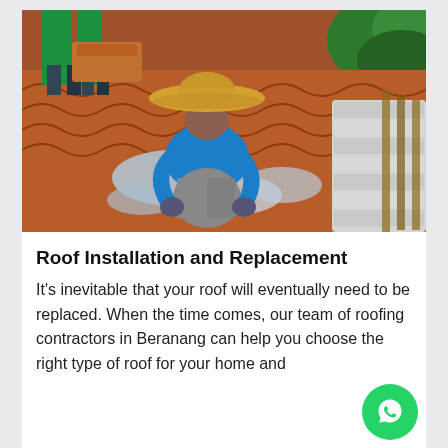[Figure (photo): A worker wearing a straw hat and blue shirt kneeling on a terracotta tiled roof, installing or replacing roofing tiles. Reflective insulation material is visible under the tiles. Another worker and stacked tile packages are visible in the background with tropical vegetation.]
Roof Installation and Replacement
It's inevitable that your roof will eventually need to be replaced. When the time comes, our team of roofing contractors in Beranang can help you choose the right type of roof for your home and